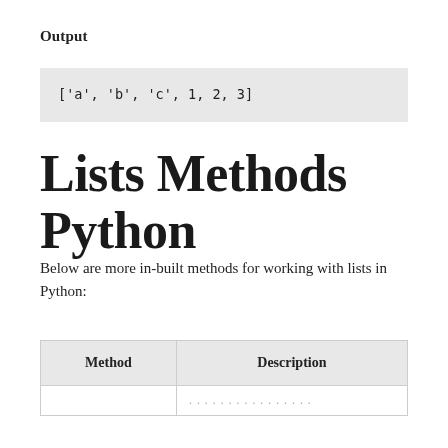Output
['a', 'b', 'c', 1, 2, 3]
Lists Methods Python
Below are more in-built methods for working with lists in Python:
| Method | Description |
| --- | --- |
|  |  |